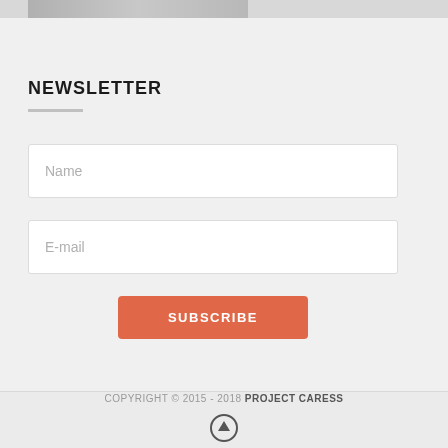[Figure (photo): Partial top strip of a grayscale image, cropped at the top of the page]
NEWSLETTER
Name (form field placeholder)
E-mail (form field placeholder)
SUBSCRIBE (button)
COPYRIGHT © 2015 - 2018 PROJECT CARESS